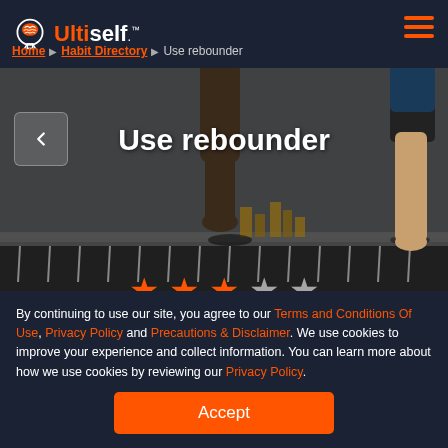[Figure (logo): Ultiself logo with orange brain icon and text]
Home ▶ Habit Directory ▶ Use rebounder
[Figure (photo): Person jumping on a rebounder/trampoline, viewed from legs down]
Use rebounder
★ ★ ★ ☆ ★ (3 filled, 2 empty stars rating)
Rate habit (16 votes)
By continuing to use our site, you agree to our Terms and Conditions Of Use, Privacy Policy and Precautions & Disclaimer. We use cookies to improve your experience and collect information. You can learn more about how we use cookies by reviewing our Privacy Policy.
Accept